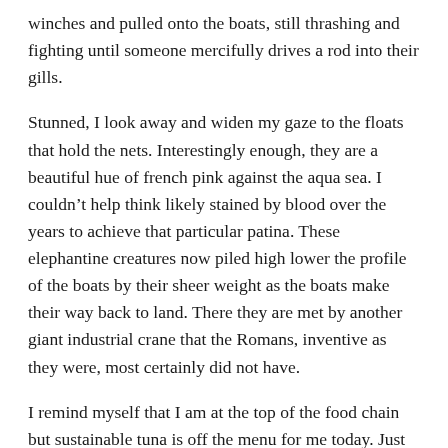winches and pulled onto the boats, still thrashing and fighting until someone mercifully drives a rod into their gills.
Stunned, I look away and widen my gaze to the floats that hold the nets. Interestingly enough, they are a beautiful hue of french pink against the aqua sea. I couldn't help think likely stained by blood over the years to achieve that particular patina. These elephantine creatures now piled high lower the profile of the boats by their sheer weight as the boats make their way back to land. There they are met by another giant industrial crane that the Romans, inventive as they were, most certainly did not have.
I remind myself that I am at the top of the food chain but sustainable tuna is off the menu for me today. Just as well that 80 percent of the catch goes to Japan. What I need to know is who does these people's PR? What I thought I knew I got from rather trusted sources. I am making a bee-line (or in this case a hornet line) straight to a local winery. The upside of all the creepy